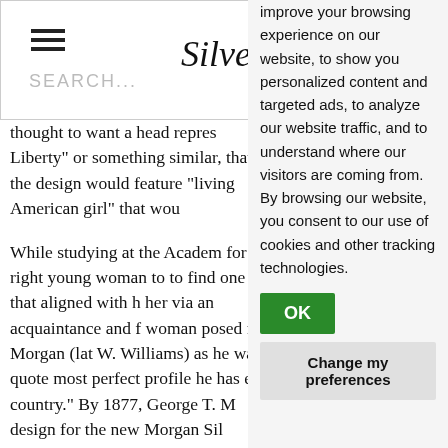[Figure (screenshot): Website header with hamburger menu icon, search bar placeholder text 'SEARCH...' and partial cursive site logo 'Silve...']
thought to want a head repres Liberty" or something similar, that the design would feature "living American girl" that wou
While studying at the Academ for the right young woman to to find one that aligned with h her via an acquaintance and f woman posed for Morgan (lat W. Williams) as he was quote most perfect profile he has ev country." By 1877, George T. M design for the new Morgan Sil produced from 1878-1904 and
The Morgan Silver Dolla
Struck at five different Mints (
improve your browsing experience on our website, to show you personalized content and targeted ads, to analyze our website traffic, and to understand where our visitors are coming from. By browsing our website, you consent to our use of cookies and other tracking technologies.
OK
Change my preferences